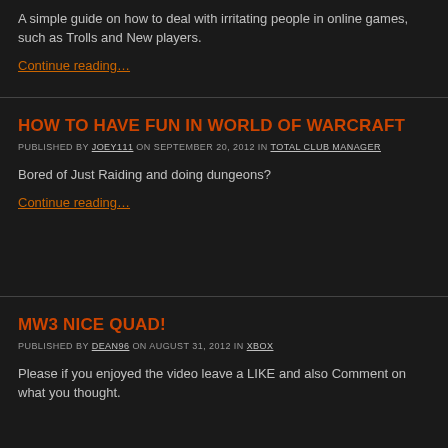A simple guide on how to deal with irritating people in online games, such as Trolls and New players.
Continue reading…
HOW TO HAVE FUN IN WORLD OF WARCRAFT
PUBLISHED BY JOEY111 ON SEPTEMBER 20, 2012 IN TOTAL CLUB MANAGER
Bored of Just Raiding and doing dungeons?
Continue reading…
MW3 NICE QUAD!
PUBLISHED BY DEAN96 ON AUGUST 31, 2012 IN XBOX
Please if you enjoyed the video leave a LIKE and also Comment on what you thought.